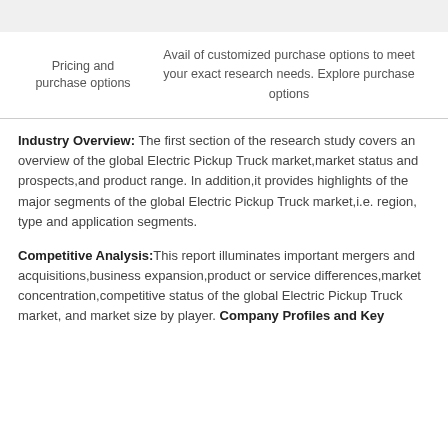| Pricing and purchase options | Description |
| --- | --- |
| Pricing and purchase options | Avail of customized purchase options to meet your exact research needs. Explore purchase options |
Industry Overview: The first section of the research study covers an overview of the global Electric Pickup Truck market,market status and prospects,and product range. In addition,it provides highlights of the major segments of the global Electric Pickup Truck market,i.e. region, type and application segments.
Competitive Analysis:This report illuminates important mergers and acquisitions,business expansion,product or service differences,market concentration,competitive status of the global Electric Pickup Truck market, and market size by player. Company Profiles and Key